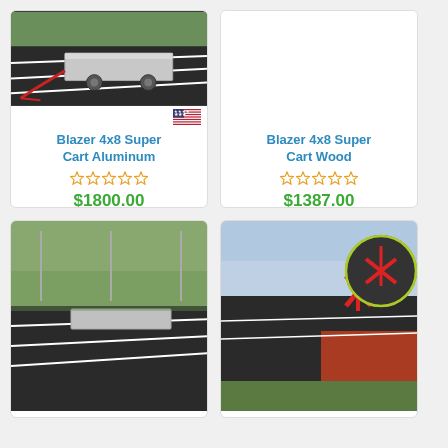[Figure (photo): Blazer 4x8 Super Cart Aluminum - flat aluminum cart on running track with red handle]
Blazer 4x8 Super Cart Aluminum
☆☆☆☆☆ (0 stars)
$1800.00
Details
Blazer 4x8 Super Cart Wood
☆☆☆☆☆ (0 stars)
$1387.00
Details
[Figure (photo): Bottom left product card - flat cart on grass field]
[Figure (photo): Bottom right product card - throwing/discus equipment with red arms on track field]